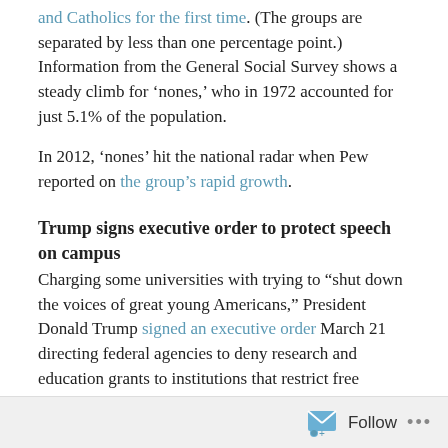and Catholics for the first time. (The groups are separated by less than one percentage point.) Information from the General Social Survey shows a steady climb for 'nones,' who in 1972 accounted for just 5.1% of the population.
In 2012, 'nones' hit the national radar when Pew reported on the group's rapid growth.
Trump signs executive order to protect speech on campus
Charging some universities with trying to “shut down the voices of great young Americans,” President Donald Trump signed an executive order March 21 directing federal agencies to deny research and education grants to institutions that restrict free speech.
U.S. indicates policy shift on embattled Golan Heights
President Trump recognized March 25 Israel’s sovereignty over the Golan Heights, an Israeli-occupied area in Syria. Read more about the region’s significance, and history of conflict, here.
Violence in Nigeria has reportedly claimed hundreds of
Follow ...